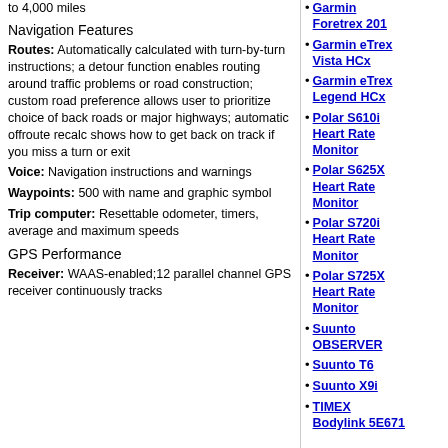to 4,000 miles
Navigation Features
Routes: Automatically calculated with turn-by-turn instructions; a detour function enables routing around traffic problems or road construction; custom road preference allows user to prioritize choice of back roads or major highways; automatic offroute recalc shows how to get back on track if you miss a turn or exit
Voice: Navigation instructions and warnings
Waypoints: 500 with name and graphic symbol
Trip computer: Resettable odometer, timers, average and maximum speeds
GPS Performance
Receiver: WAAS-enabled;12 parallel channel GPS receiver continuously tracks and uses up to 12 satellites to compute
Garmin Foretrex 201
Garmin eTrex Vista HCx
Garmin eTrex Legend HCx
Polar S610i Heart Rate Monitor
Polar S625X Heart Rate Monitor
Polar S720i Heart Rate Monitor
Polar S725X Heart Rate Monitor
Suunto OBSERVER
Suunto T6
Suunto X9i
TIMEX Bodylink 5E671